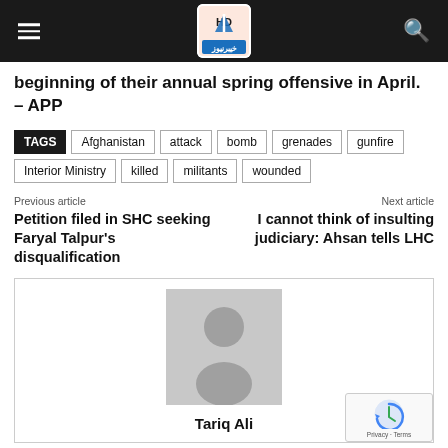Khyber News HD
beginning of their annual spring offensive in April. – APP
TAGS: Afghanistan, attack, bomb, grenades, gunfire, Interior Ministry, killed, militants, wounded
Previous article
Petition filed in SHC seeking Faryal Talpur's disqualification
Next article
I cannot think of insulting judiciary: Ahsan tells LHC
[Figure (photo): Author avatar placeholder - grey silhouette of a person on grey background]
Tariq Ali